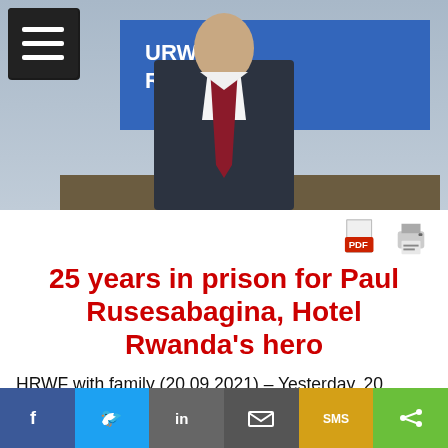[Figure (photo): A man in a dark suit with a red/maroon tie standing in front of a blue banner reading URW RW'IG]
25 years in prison for Paul Rusesabagina, Hotel Rwanda's hero
HRWF with family (20.09.2021) – Yesterday, 20 September, the Show Trial of Paul Rusesabagina, a 67-year old Belgian/ Rwandan citizen, ended with a guilty verdict on eight of nine charges and was sentenced to 25 years prison. A guilty verdict was
f  Twitter  in  Email  SMS  Share